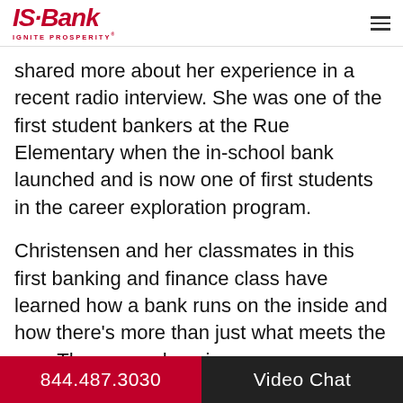IS Bank IGNITE PROSPERITY
shared more about her experience in a recent radio interview. She was one of the first student bankers at the Rue Elementary when the in-school bank launched and is now one of first students in the career exploration program.
Christensen and her classmates in this first banking and finance class have learned how a bank runs on the inside and how there's more than just what meets the eye. The comprehensive program provides information about different bank services and product offerings, credit scores, personal saving plans and lending practices. After high school Christensen wants to attend a four-year college, most likely in the Midwest, to get a bachelor's
844.487.3030   Video Chat